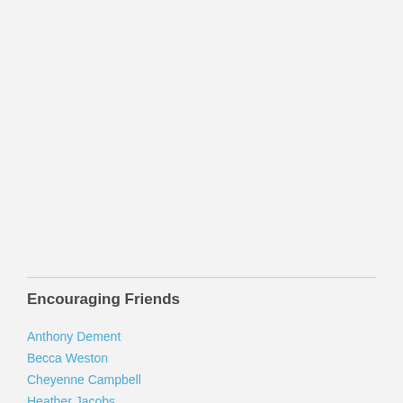Encouraging Friends
Anthony Dement
Becca Weston
Cheyenne Campbell
Heather Jacobs
KT Hanna